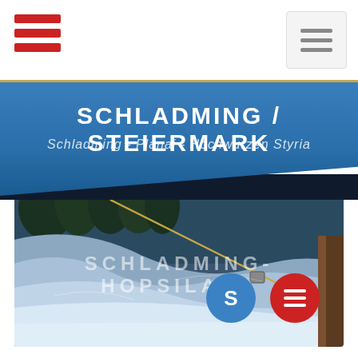[Figure (screenshot): Mobile app navigation bar with red hamburger menu icon on top-left and gray hamburger icon in a box on top-right, white background with gold bottom border]
SCHLADMING/STEIERMARK
Schladming - Planai - Hochwurzen Styria
[Figure (photo): Winter ski resort webcam image showing snow-covered slopes and forest, with text overlay reading SCHLADMING-HOPSILAND, a blue circle button with S and a red circle hamburger menu button]